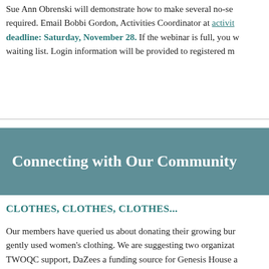Sue Ann Obrenski will demonstrate how to make several no-se required. Email Bobbi Gordon, Activities Coordinator at activit deadline: Saturday, November 28. If the webinar is full, you w waiting list. Login information will be provided to registered m
Connecting with Our Community
CLOTHES, CLOTHES, CLOTHES...
Our members have queried us about donating their growing bur gently used women's clothing. We are suggesting two organizat TWOQC support, DaZees a funding source for Genesis House a and Women Warriors, a 501©3 non-profit in Tucson supporting hardship.
DaZees—231 W Duval Mine Road requests high-end women's